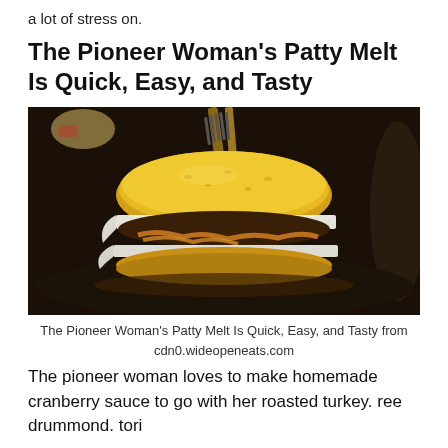a lot of stress on.
The Pioneer Woman's Patty Melt Is Quick, Easy, and Tasty
[Figure (photo): A patty melt sandwich with melted cheese and caramelized onions in a black cast iron skillet, with a fork resting on top.]
The Pioneer Woman's Patty Melt Is Quick, Easy, and Tasty from
cdn0.wideopeneats.com
The pioneer woman loves to make homemade cranberry sauce to go with her roasted turkey. ree drummond. tori